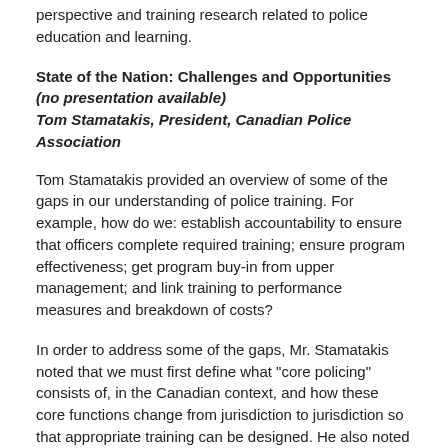Presenters provided an overview of the frontline perspective and training research related to police education and learning.
State of the Nation: Challenges and Opportunities (no presentation available)
Tom Stamatakis, President, Canadian Police Association
Tom Stamatakis provided an overview of some of the gaps in our understanding of police training. For example, how do we: establish accountability to ensure that officers complete required training; ensure program effectiveness; get program buy-in from upper management; and link training to performance measures and breakdown of costs?
In order to address some of the gaps, Mr. Stamatakis noted that we must first define what "core policing" consists of, in the Canadian context, and how these core functions change from jurisdiction to jurisdiction so that appropriate training can be designed. He also noted that